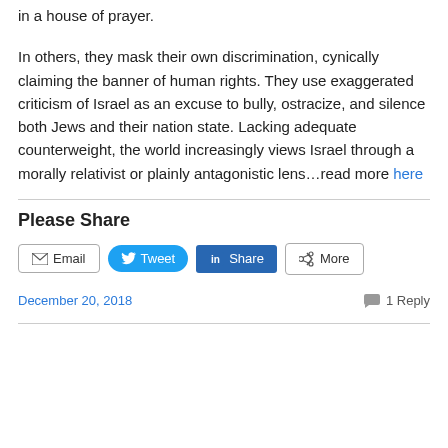in a house of prayer.
In others, they mask their own discrimination, cynically claiming the banner of human rights. They use exaggerated criticism of Israel as an excuse to bully, ostracize, and silence both Jews and their nation state. Lacking adequate counterweight, the world increasingly views Israel through a morally relativist or plainly antagonistic lens…read more here
Please Share
Email  Tweet  Share  More
December 20, 2018   1 Reply